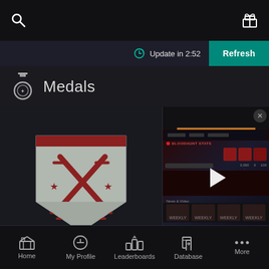Search | Gift
Update in 2:52 | Refresh
Medals
Double Play
690 (1.14 PGA)
Rapidly defeat 2 opposing Guardians.
[Figure (illustration): Gray shield badge with crossed swords, stars, and horizontal lines in dark red]
[Figure (illustration): Dark gray shield badge with sword, stars, and horizontal lines in orange/gold]
[Figure (screenshot): Video thumbnail showing a gaming website with Bloodhunt stats, a play button overlay, progress bar in cyan, and weekly content thumbnails at the bottom]
Home | My Profile | Leaderboards | Database | More